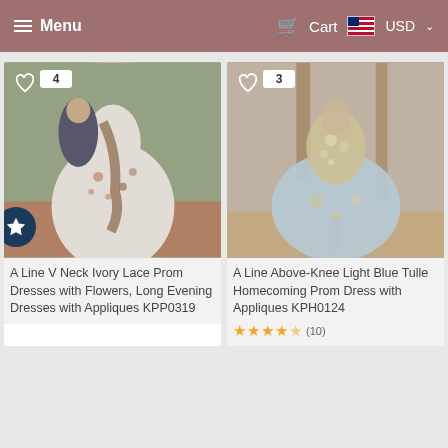Menu   Cart   USD
[Figure (photo): Left product: couple posing, woman wearing A Line V Neck Ivory Lace Prom Dress with floral appliques, outdoor setting]
[Figure (photo): Right product: mannequin wearing A Line Above-Knee Light Blue Tulle Homecoming Prom Dress with appliques, indoor boutique setting]
A Line V Neck Ivory Lace Prom Dresses with Flowers, Long Evening Dresses with Appliques KPP0319
A Line Above-Knee Light Blue Tulle Homecoming Prom Dress with Appliques KPH0124
(10)